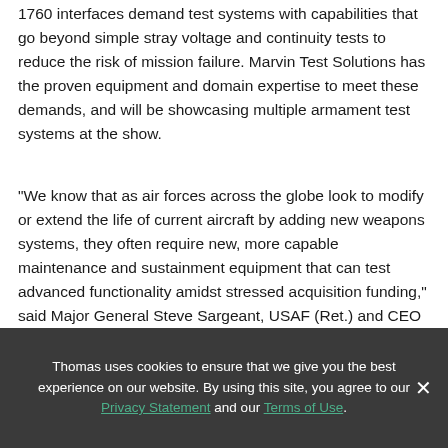1760 interfaces demand test systems with capabilities that go beyond simple stray voltage and continuity tests to reduce the risk of mission failure. Marvin Test Solutions has the proven equipment and domain expertise to meet these demands, and will be showcasing multiple armament test systems at the show.
"We know that as air forces across the globe look to modify or extend the life of current aircraft by adding new weapons systems, they often require new, more capable maintenance and sustainment equipment that can test advanced functionality amidst stressed acquisition funding," said Major General Steve Sargeant, USAF (Ret.) and CEO of Marvin Test Solutions. "Our MTS-3060 SmartCan™ Universal O-Level
Thomas uses cookies to ensure that we give you the best experience on our website. By using this site, you agree to our Privacy Statement and our Terms of Use.